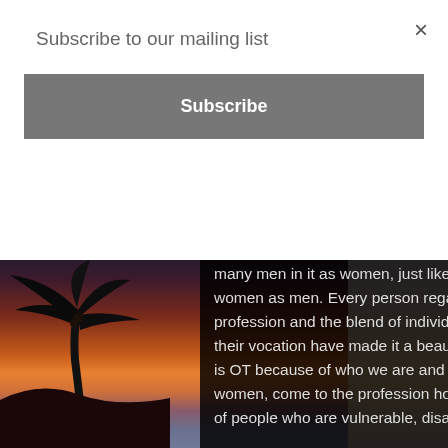Subscribe to our mailing list
Subscribe
many men in it as women, just like I don't think that Engineering loses by not having as many women as men. Every person regardless of gender brings their own particular art to their profession and the blend of individuals both men and women have who have chosen OT as their vocation have made it a beautiful profession to belong to. Just as you have all said, OT is OT because of who we are and where we have come from. The men in OT just like the women, come to the profession hopefully because they want to make a difference in the lives of people who are vulnerable, disadvantaged or for